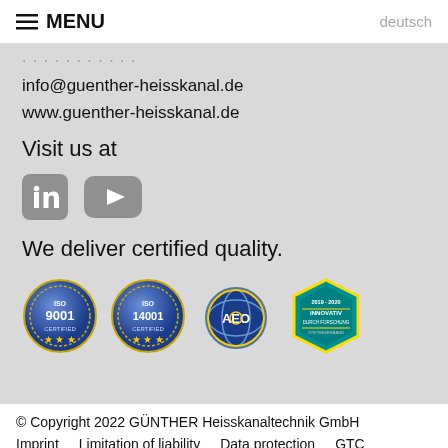MENU | deutsch
info@guenther-heisskanal.de
www.guenther-heisskanal.de
Visit us at
[Figure (logo): LinkedIn and YouTube social media icons (grey)]
We deliver certified quality.
[Figure (logo): Four certification badges: ISO 9001 Certified, ISO 14001 Certified, AEO, and Innovativ durch Forschung]
© Copyright 2022 GÜNTHER Heisskanaltechnik GmbH
Imprint    Limitation of liability    Data protection    GTC